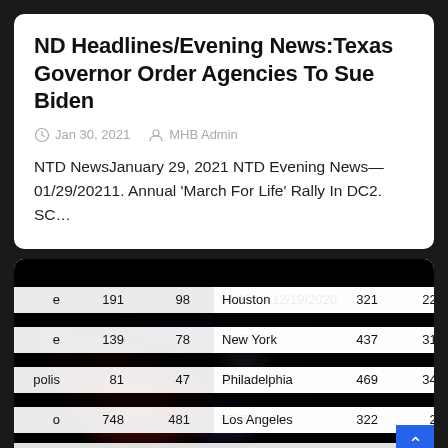ND Headlines/Evening News:Texas Governor Order Agencies To Sue Biden
Jan 30, 2021   MHB Admin
NTD NewsJanuary 29, 2021 NTD Evening News—01/29/20211. Annual ‘March For Life’ Rally In DC2. SC…
[Figure (table-as-image): Screenshot of a partially visible data table with bokeh/blur dark background showing city crime statistics. Visible rows include data for Houston (321, 225), New York (437, 314), Philadelphia (469, 346), Los Angeles (322, 24...) and partial left-side rows with values 191/98/94.9%/12-19-2020, 139/78/78.2%, 81/47/72.3%, 748/481/55.5%]